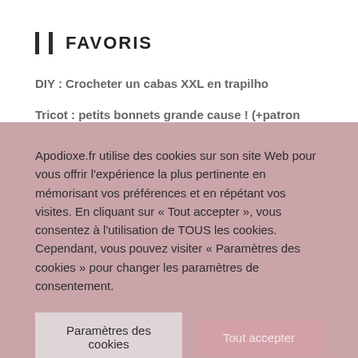FAVORIS
DIY : Crocheter un cabas XXL en trapilho
Tricot : petits bonnets grande cause ! (+patron gratuit)
Tuto vidéo : Le cabas XXL au crochet en trapilho
TUTO – Fabriquer un métier à tisser en carton
Apodioxe.fr utilise des cookies sur son site Web pour vous offrir l'expérience la plus pertinente en mémorisant vos préférences et en répétant vos visites. En cliquant sur « Tout accepter », vous consentez à l'utilisation de TOUS les cookies. Cependant, vous pouvez visiter « Paramètres des cookies » pour changer les paramètres de consentement.
Paramètres des cookies | Tout accepter